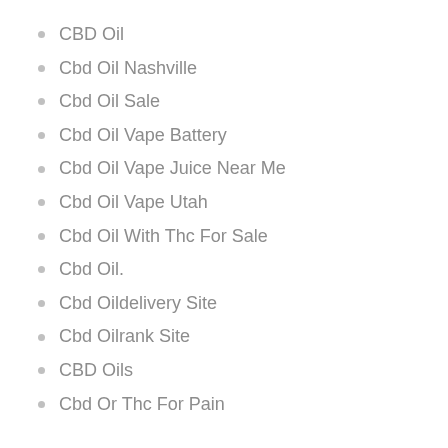CBD Oil
Cbd Oil Nashville
Cbd Oil Sale
Cbd Oil Vape Battery
Cbd Oil Vape Juice Near Me
Cbd Oil Vape Utah
Cbd Oil With Thc For Sale
Cbd Oil.
Cbd Oildelivery Site
Cbd Oilrank Site
CBD Oils
Cbd Or Thc For Pain